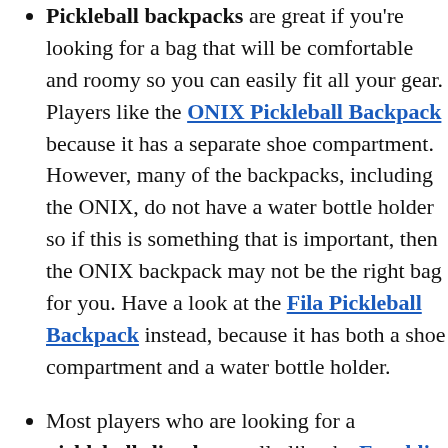Pickleball backpacks are great if you're looking for a bag that will be comfortable and roomy so you can easily fit all your gear. Players like the ONIX Pickleball Backpack because it has a separate shoe compartment. However, many of the backpacks, including the ONIX, do not have a water bottle holder so if this is something that is important, then the ONIX backpack may not be the right bag for you. Have a look at the Fila Pickleball Backpack instead, because it has both a shoe compartment and a water bottle holder.
Most players who are looking for a pickleball sling bag really like the Franklin Sports Pickleball Bag because it's comfortable to carry, has enough room for multiple pickleball paddles, balls etc... along with a pocket for a cell